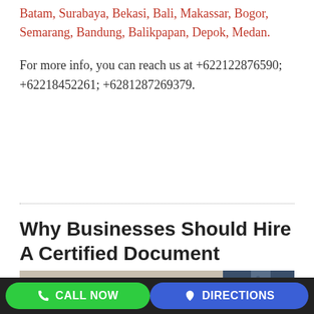Batam, Surabaya, Bekasi, Bali, Makassar, Bogor, Semarang, Bandung, Balikpapan, Depok, Medan.
For more info, you can reach us at +622122876590; +62218452261; +6281287269379.
Why Businesses Should Hire A Certified Document Translator
August 10, 2016   Anindyatrans   0
[Figure (photo): A person writing with a pen, wearing a suit with a tie, photographed from the side.]
CALL NOW   DIRECTIONS